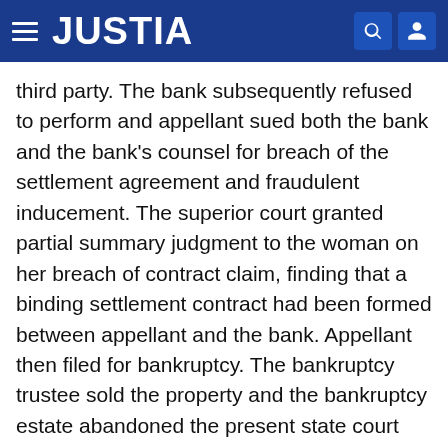JUSTIA
third party. The bank subsequently refused to perform and appellant sued both the bank and the bank's counsel for breach of the settlement agreement and fraudulent inducement. The superior court granted partial summary judgment to the woman on her breach of contract claim, finding that a binding settlement contract had been formed between appellant and the bank. Appellant then filed for bankruptcy. The bankruptcy trustee sold the property and the bankruptcy estate abandoned the present state court claim, placing the remaining balance from the sale of the property into the superior court registry. The superior court held a bench trial on the remaining fraud claim and on the parties' respective damages. At the conclusion of appellant's case, the court granted a directed verdict to the bank and the bank's counsel on the fraud claim. The superior court awarded the bank